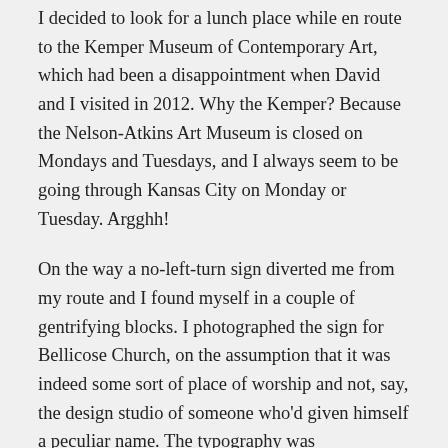I decided to look for a lunch place while en route to the Kemper Museum of Contemporary Art, which had been a disappointment when David and I visited in 2012. Why the Kemper? Because the Nelson-Atkins Art Museum is closed on Mondays and Tuesdays, and I always seem to be going through Kansas City on Monday or Tuesday. Argghh!
On the way a no-left-turn sign diverted me from my route and I found myself in a couple of gentrifying blocks. I photographed the sign for Bellicose Church, on the assumption that it was indeed some sort of place of worship and not, say, the design studio of someone who'd given himself a peculiar name. The typography was uncommonly good for a small church, or for pretty much any church. But I thought it was funny, whatever it was. (I just now looked it up and no longer find it funny. It is a church—a “missional community”—with this action statement: “We named our